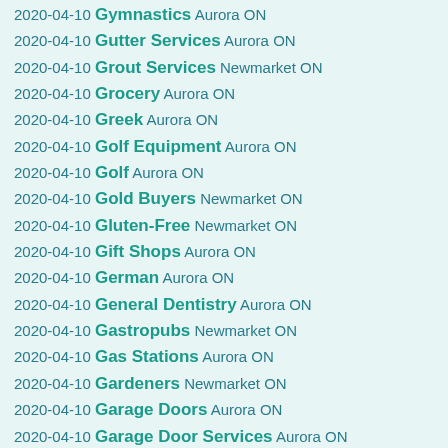2020-04-10 Gymnastics Aurora ON
2020-04-10 Gutter Services Aurora ON
2020-04-10 Grout Services Newmarket ON
2020-04-10 Grocery Aurora ON
2020-04-10 Greek Aurora ON
2020-04-10 Golf Equipment Aurora ON
2020-04-10 Golf Aurora ON
2020-04-10 Gold Buyers Newmarket ON
2020-04-10 Gluten-Free Newmarket ON
2020-04-10 Gift Shops Aurora ON
2020-04-10 German Aurora ON
2020-04-10 General Dentistry Aurora ON
2020-04-10 Gastropubs Newmarket ON
2020-04-10 Gas Stations Aurora ON
2020-04-10 Gardeners Newmarket ON
2020-04-10 Garage Doors Aurora ON
2020-04-10 Garage Door Services Aurora ON
2020-04-10 Games Newmarket ON
2020-04-10 Furniture Stores Aurora ON
2020-04-10 Furniture Reupholstery Aurora ON
2020-04-10 Funeral Services Richmond Hill ON
2020-04-10 Fruits Newmarket ON
2020-04-10 French Aurora ON